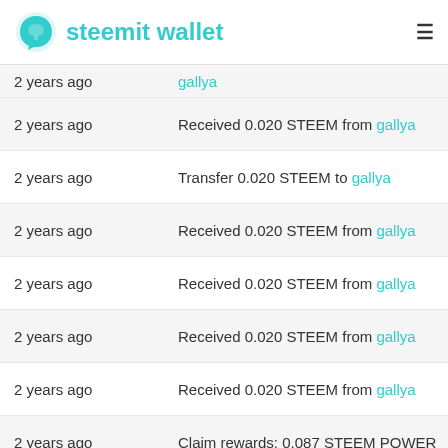steemit wallet
2 years ago | Received 0.020 STEEM from gallya
2 years ago | Transfer 0.020 STEEM to gallya
2 years ago | Received 0.020 STEEM from gallya
2 years ago | Received 0.020 STEEM from gallya
2 years ago | Received 0.020 STEEM from gallya
2 years ago | Received 0.020 STEEM from gallya
2 years ago | Claim rewards: 0.087 STEEM POWER
2 years ago | Claim rewards: 0.086 STEEM POWER
2 years ago | Claim rewards: 0.089 STEEM POWER